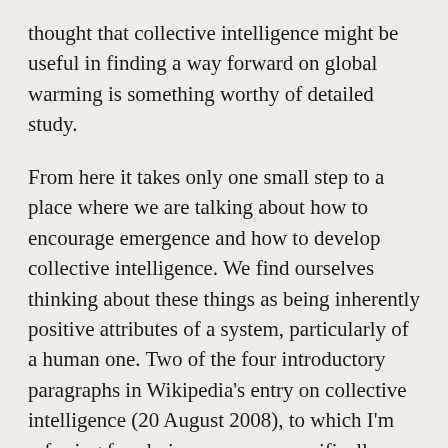thought that collective intelligence might be useful in finding a way forward on global warming is something worthy of detailed study.
From here it takes only one small step to a place where we are talking about how to encourage emergence and how to develop collective intelligence. We find ourselves thinking about these things as being inherently positive attributes of a system, particularly of a human one. Two of the four introductory paragraphs in Wikipedia's entry on collective intelligence (20 August 2008), to which I'm referring for obvious reasons, specifically present this positive slant (the other two are neutral).
But to take this step is, I think, a huge mistake. The fact is that emergence and collective intelligence aren't 'good' by definition. If good things can emerge, so can bad; and intelligence can be put to beneficial or to detrimental use. This article explores these points in more detail, examining